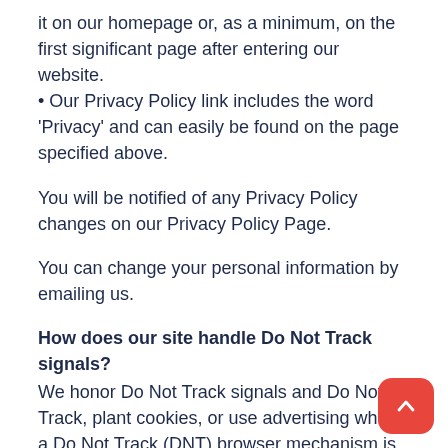it on our homepage or, as a minimum, on the first significant page after entering our website.
• Our Privacy Policy link includes the word 'Privacy' and can easily be found on the page specified above.
You will be notified of any Privacy Policy changes on our Privacy Policy Page.
You can change your personal information by emailing us.
How does our site handle Do Not Track signals?
We honor Do Not Track signals and Do Not Track, plant cookies, or use advertising when a Do Not Track (DNT) browser mechanism is in place.
Does our site allow third-party behavioral tracking
It's also important to note that we do not allow third